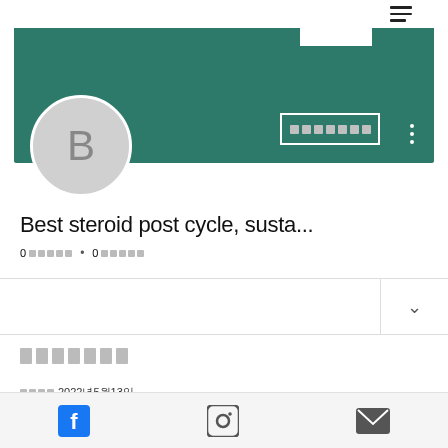[Figure (screenshot): Social media profile page screenshot showing a teal/green banner header, circular avatar with letter B, profile name 'Best steroid post cycle, susta...', follower/following stats with redacted text squares, a dropdown section, a section header with redacted text, a date showing 2022년5월13일, and a bottom navigation bar with Facebook, Instagram, and email icons.]